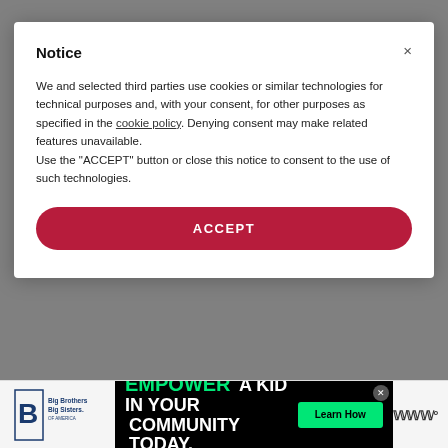below. That's because my darling husband is quite passionate about brownies and that is what I usually make him for Valentine's Day. My older son loves them too! My younger son is a big fan of my Paleo Sugar Cookies so I often make those for him during the year, and especially for Valentine's day! ♥
Notice
We and selected third parties use cookies or similar technologies for technical purposes and, with your consent, for other purposes as specified in the cookie policy. Denying consent may make related features unavailable.
Use the "ACCEPT" button or close this notice to consent to the use of such technologies.
ACCEPT
[Figure (screenshot): Bottom advertisement bar showing Big Brothers Big Sisters logo, 'EMPOWER A KID IN YOUR COMMUNITY TODAY.' ad with Learn How button, and close button]